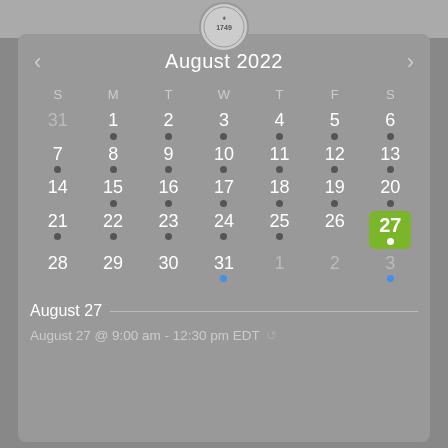[Figure (other): Institution seal/logo circle at top center]
August 2022
| S | M | T | W | T | F | S |
| --- | --- | --- | --- | --- | --- | --- |
| 31 | 1 | 2 | 3 | 4 | 5 | 6 |
| 7 | 8 | 9 | 10 | 11 | 12 | 13 |
| 14 | 15 | 16 | 17 | 18 | 19 | 20 |
| 21 | 22 | 23 | 24 | 25 | 26 | 27 |
| 28 | 29 | 30 | 31 | 1 | 2 | 3 |
August 27
August 27 @ 9:00 am - 12:30 pm EDT ↺